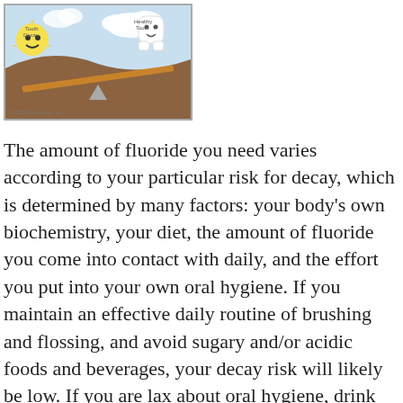[Figure (illustration): Cartoon illustration showing 'Tooth Decay' character vs 'Healthy Tooth' character on a seesaw/balance. Copyright 2012 Dear Doctor, Inc.]
The amount of fluoride you need varies according to your particular risk for decay, which is determined by many factors: your body's own biochemistry, your diet, the amount of fluoride you come into contact with daily, and the effort you put into your own oral hygiene. If you maintain an effective daily routine of brushing and flossing, and avoid sugary and/or acidic foods and beverages, your decay risk will likely be low. If you are lax about oral hygiene, drink soda and snack throughout the day, your risk will be much higher.